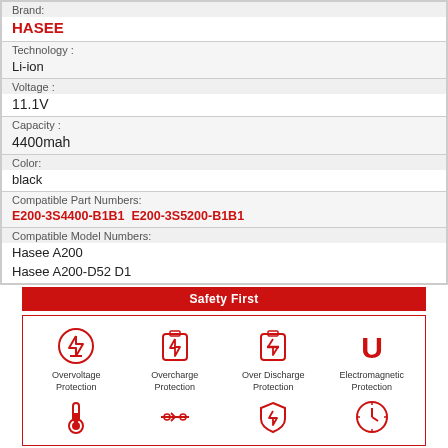| Brand: | HASEE |
| Technology: | Li-ion |
| Voltage: | 11.1V |
| Capacity: | 4400mah |
| Color: | black |
| Compatible Part Numbers: | E200-3S4400-B1B1 E200-3S5200-B1B1 |
| Compatible Model Numbers: | Hasee A200
Hasee A200-D52 D1 |
Safety First
[Figure (infographic): Safety icons: Overvoltage Protection, Overcharge Protection, Over Discharge Protection, Electromagnetic Protection, and partial second row of icons]